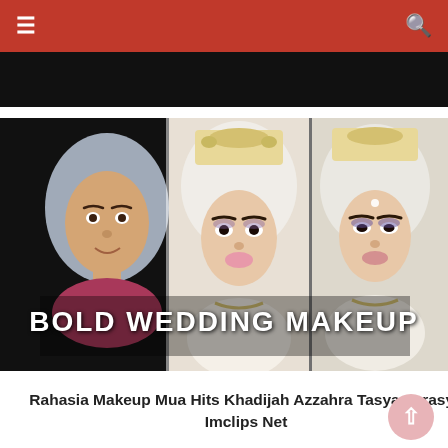≡  🔍
[Figure (photo): Before and after wedding makeup comparison showing a woman without makeup on the left wearing a grey hijab, and two bridal looks on the right with ornate headpieces. Text overlay reads BOLD WEDDING MAKEUP.]
Rahasia Makeup Mua Hits Khadijah Azzahra Tasya Farasya Imclips Net